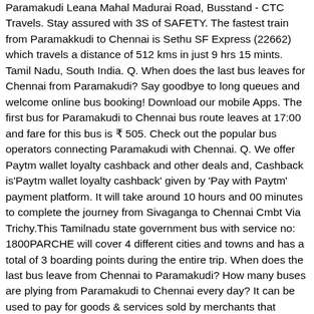Paramakudi Leana Mahal Madurai Road, Busstand - CTC Travels. Stay assured with 3S of SAFETY. The fastest train from Paramakkudi to Chennai is Sethu SF Express (22662) which travels a distance of 512 kms in just 9 hrs 15 mints. Tamil Nadu, South India. Q. When does the last bus leaves for Chennai from Paramakudi? Say goodbye to long queues and welcome online bus booking! Download our mobile Apps. The first bus for Paramakudi to Chennai bus route leaves at 17:00 and fare for this bus is ₹ 505. Check out the popular bus operators connecting Paramakudi with Chennai. Q. We offer Paytm wallet loyalty cashback and other deals and, Cashback is'Paytm wallet loyalty cashback' given by 'Pay with Paytm' payment platform. It will take around 10 hours and 00 minutes to complete the journey from Sivaganga to Chennai Cmbt Via Trichy.This Tamilnadu state government bus with service no: 1800PARCHE will cover 4 different cities and towns and has a total of 3 boarding points during the entire trip. When does the last bus leave from Chennai to Paramakudi? How many buses are plying from Paramakudi to Chennai every day? It can be used to pay for goods & services sold by merchants that accept 'Pay with Paytm', Paytm Wallet is issued by Paytm Payments Bank Limited, Vijayawada to Hyderabad Bus Ticket Booking, Aurangabad City Water Utility Comnany Ltd. Daily 10 Buses run from Paramakudi to